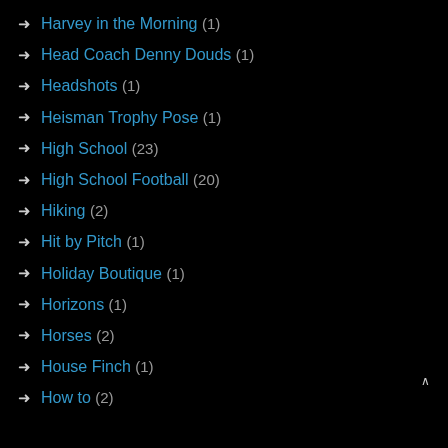Harvey in the Morning (1)
Head Coach Denny Douds (1)
Headshots (1)
Heisman Trophy Pose (1)
High School (23)
High School Football (20)
Hiking (2)
Hit by Pitch (1)
Holiday Boutique (1)
Horizons (1)
Horses (2)
House Finch (1)
How to (2)